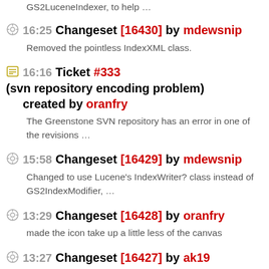GS2LuceneIndexer, to help …
16:25 Changeset [16430] by mdewsnip — Removed the pointless IndexXML class.
16:16 Ticket #333 (svn repository encoding problem) created by oranfry — The Greenstone SVN repository has an error in one of the revisions …
15:58 Changeset [16429] by mdewsnip — Changed to use Lucene's IndexWriter? class instead of GS2IndexModifier, …
13:29 Changeset [16428] by oranfry — made the icon take up a little less of the canvas
13:27 Changeset [16427] by ak19 — Reinstated the commenting out of a check for pre-existing directory. ….
13:25 Changeset [16426] by ak19 — Minor changes. Although it may not be necessary, using filename_cat to …